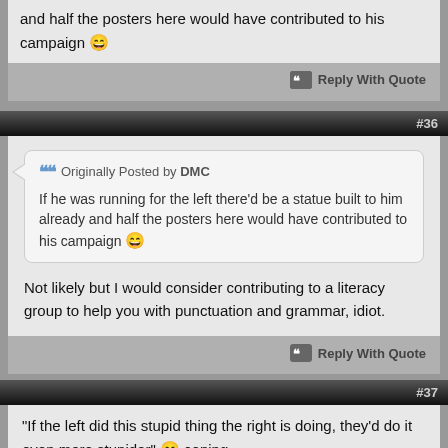and half the posters here would have contributed to his campaign 😄
Reply With Quote
#36
Originally Posted by DMC
If he was running for the left there'd be a statue built to him already and half the posters here would have contributed to his campaign 😄
Not likely but I would consider contributing to a literacy group to help you with punctuation and grammar, idiot.
Reply With Quote
#37
"If the left did this stupid thing the right is doing, they'd do it even more stupider" 😄 coping